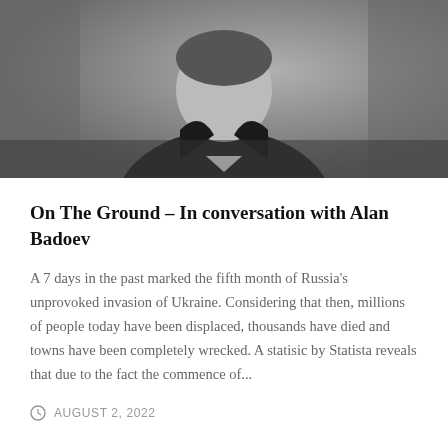[Figure (photo): Black and white photograph of a person (Alan Badoev) in a dark jacket, upper body visible, grey background]
On The Ground – In conversation with Alan Badoev
A 7 days in the past marked the fifth month of Russia's unprovoked invasion of Ukraine. Considering that then, millions of people today have been displaced, thousands have died and towns have been completely wrecked. A statisic by Statista reveals that due to the fact the commence of...
AUGUST 2, 2022